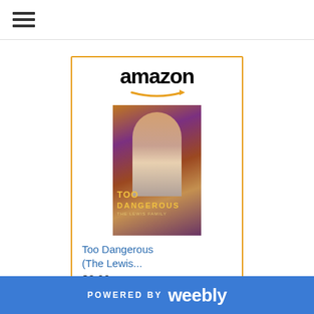Navigation menu (hamburger icon)
[Figure (screenshot): Amazon advertisement card for 'Too Dangerous (The Lewis...)' showing Amazon logo, book cover image, price $3.99, and Shop now button with gold background]
Too Dangerous (The Lewis...
$3.99
POWERED BY weebly